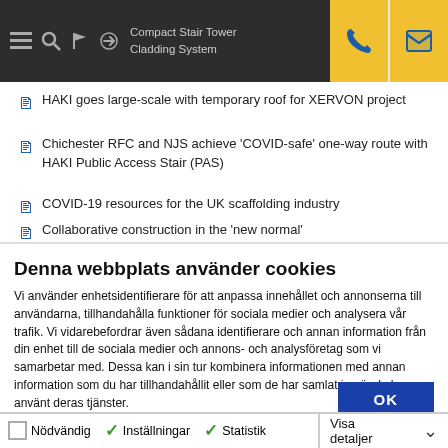Compact Stair Tower
Cladding System
HAKI goes large-scale with temporary roof for XERVON project
Chichester RFC and NJS achieve 'COVID-safe' one-way route with HAKI Public Access Stair (PAS)
COVID-19 resources for the UK scaffolding industry
Collaborative construction in the 'new normal'
Denna webbplats använder cookies
Vi använder enhetsidentifierare för att anpassa innehållet och annonserna till användarna, tillhandahålla funktioner för sociala medier och analysera vår trafik. Vi vidarebefordrar även sådana identifierare och annan information från din enhet till de sociala medier och annons- och analysföretag som vi samarbetar med. Dessa kan i sin tur kombinera informationen med annan information som du har tillhandahållit eller som de har samlat in när du har använt deras tjänster.
OK
Nödvändig   Inställningar   Statistik   Marknadsföring   Visa detaljer